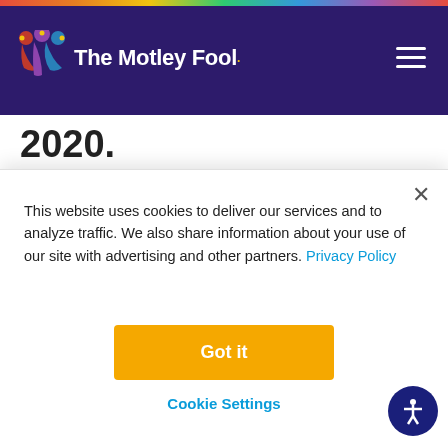The Motley Fool
2020.
Matthews
International
[Figure (logo): The Motley Fool jester hat logo and partial 'The' text watermark in center of page]
This website uses cookies to deliver our services and to analyze traffic. We also share information about your use of our site with advertising and other partners. Privacy Policy
Got it
Cookie Settings